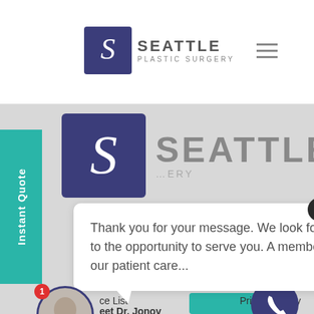[Figure (logo): Seattle Plastic Surgery logo in white header bar]
[Figure (logo): Seattle Plastic Surgery large logo in gray background area]
Instant Quote
Thank you for your message. We look forward to the opportunity to serve you. A member of our patient care...
ice List
Privacy Policy
eet Dr. Jonov
Site Map